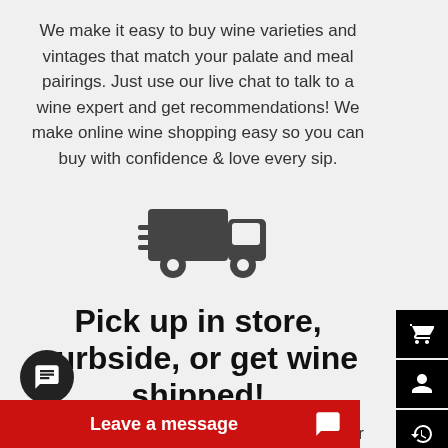We make it easy to buy wine varieties and vintages that match your palate and meal pairings. Just use our live chat to talk to a wine expert and get recommendations! We make online wine shopping easy so you can buy with confidence & love every sip.
[Figure (illustration): Delivery truck icon in dark gray]
Pick up in store, curbside, or get wine shipped!
Shop our incredible selection of wine & beer online and get your order shipped to your home! We offer convenient shipping and purchase options so you can enjoy premium wines across the country.
[Figure (illustration): Right sidebar with shopping cart, user account, history, filter, and notification icons on black background]
[Figure (illustration): Chat message bubble icon in black circle]
Leave a message